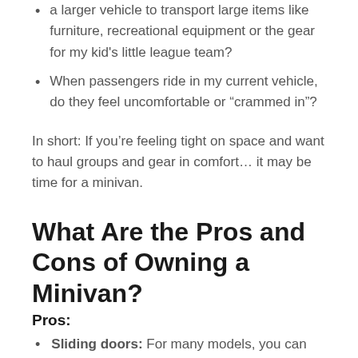a larger vehicle to transport large items like furniture, recreational equipment or the gear for my kid's little league team?
When passengers ride in my current vehicle, do they feel uncomfortable or “crammed in”?
In short: If you’re feeling tight on space and want to haul groups and gear in comfort… it may be time for a minivan.
What Are the Pros and Cons of Owning a Minivan?
Pros:
Sliding doors: For many models, you can use your key fob to open and close them, as well as the back hatch, hands-free. This means less juggling of kids and bags every time you need to open a door. You’ll also save other vehicles from door dings as your children slide instead of swinging them open.